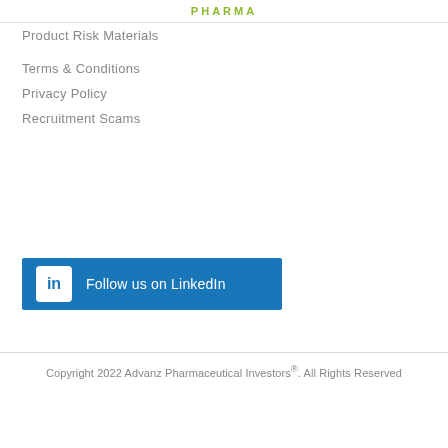PHARMA
Product Risk Materials
Terms & Conditions
Privacy Policy
Recruitment Scams
[Figure (other): LinkedIn follow button — blue rectangle with white LinkedIn 'in' icon and text 'Follow us on LinkedIn']
Copyright 2022 Advanz Pharmaceutical Investors®. All Rights Reserved